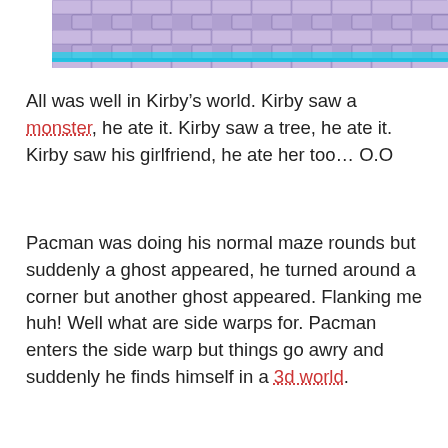[Figure (photo): Top portion of a video game screenshot showing a character on a purple/blue stone floor with a cyan glowing bar, partially cropped at the top of the page.]
All was well in Kirby’s world. Kirby saw a monster, he ate it. Kirby saw a tree, he ate it. Kirby saw his girlfriend, he ate her too… O.O
Pacman was doing his normal maze rounds but suddenly a ghost appeared, he turned around a corner but another ghost appeared. Flanking me huh! Well what are side warps for. Pacman enters the side warp but things go awry and suddenly he finds himself in a 3d world.
[Figure (screenshot): Pac-Man arcade game screenshot showing the maze with blue walls and yellow dots on a black background. Left side shows GAME SCORE with value 0 0 0 7, right side shows HIGH SCORE with value 0 0 0.]